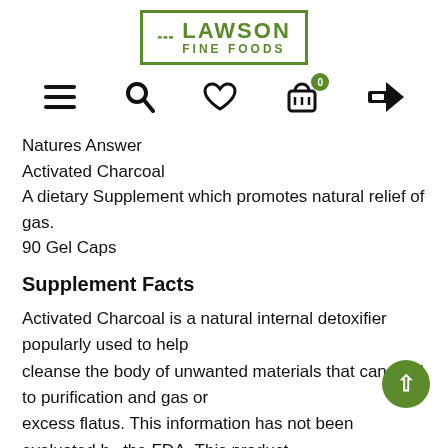[Figure (logo): Lawson Fine Foods logo with fork icon and green border]
[Figure (other): Navigation icons: hamburger menu, search, heart/wishlist, shopping basket with 0 badge, login arrow]
Natures Answer
Activated Charcoal
A dietary Supplement which promotes natural relief of gas.
90 Gel Caps
Supplement Facts
Activated Charcoal is a natural internal detoxifier popularly used to help
cleanse the body of unwanted materials that can lead to purification and gas or
excess flatus. This information has not been evaluated by the FDA. This product
is not intended to diagnose , treat , cure or prevent any